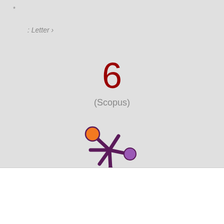*
: Letter ›
6
(Scopus)
[Figure (logo): Altmetric splat logo — dark purple asterisk/snowflake shape with orange circle on upper-left arm and purple circle on right arm]
Cookie
Cookie